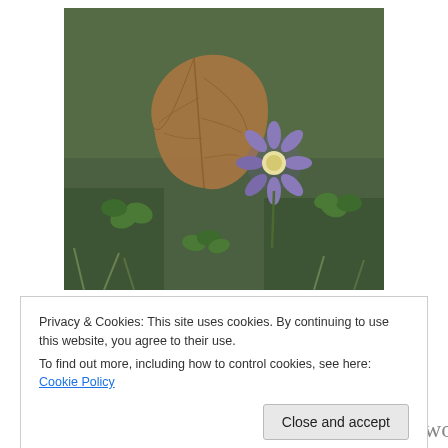[Figure (photo): Close-up photograph of a small purple/blue flower beside a dry brown fallen leaf, surrounded by green clover or grass on the ground.]
I find I'm generally in a much better place interiorly than I've been for much of my adult life.  There are more evidences of happiness in my heart, even though I carry a great sadness of which I'm aware most of the time.    The
difference is that I find...
Privacy & Cookies: This site uses cookies. By continuing to use this website, you agree to their use.
To find out more, including how to control cookies, see here: Cookie Policy
Close and accept
As for my goals for exercise this week, I would say I was